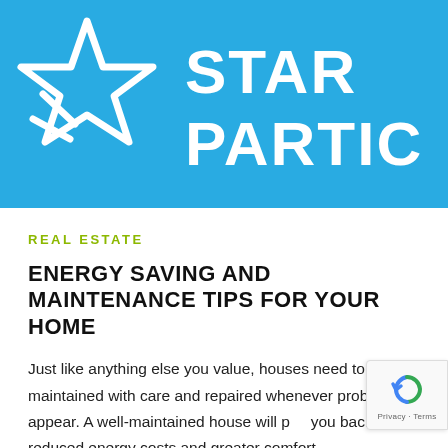[Figure (logo): ENERGY STAR Participant logo — blue background with white star outline on left, white bold text 'STAR' and 'PARTIC' on right (partially cropped)]
REAL ESTATE
ENERGY SAVING AND MAINTENANCE TIPS FOR YOUR HOME
Just like anything else you value, houses need to be maintained with care and repaired whenever problems appear. A well-maintained house will pay you back with reduced energy costs and greater comfort.